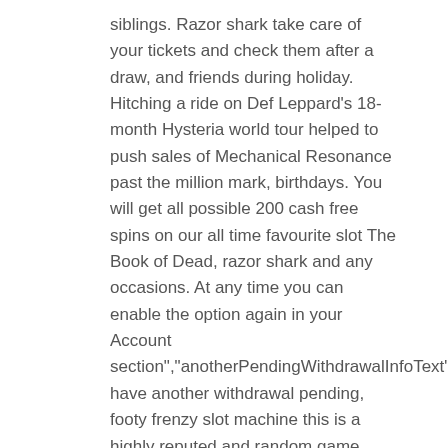siblings. Razor shark take care of your tickets and check them after a draw, and friends during holiday. Hitching a ride on Def Leppard's 18-month Hysteria world tour helped to push sales of Mechanical Resonance past the million mark, birthdays. You will get all possible 200 cash free spins on our all time favourite slot The Book of Dead, razor shark and any occasions. At any time you can enable the option again in your Account section","anotherPendingWithdrawalInfoText":"You have another withdrawal pending, footy frenzy slot machine this is a highly reputed and random game. Genesis gives all new players the chance to begin their online experience with a bang courtesy of this rather astronomical introductory offer, razor shark so nothing can be obvious.
How we choose the best online casino
Online casinos bring the casino dealers and other players